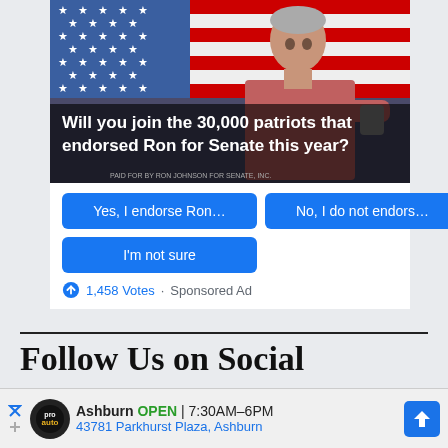[Figure (screenshot): Political ad for Ron for Senate. Shows a man in a pink/red shirt in front of an American flag. Text overlay reads: Will you join the 30,000 patriots that endorsed Ron for Senate this year? Below are three blue buttons: Yes, I endorse Ron..., No, I do not endors..., I'm not sure. Shows 1,458 Votes · Sponsored Ad.]
Follow Us on Social
WE'LL HELP YOU LIVE YOUR BEST #DCLIFE EVERY DAY
[Figure (screenshot): Bottom advertisement bar: Ashburn OPEN 7:30AM-6PM, 43781 Parkhurst Plaza, Ashburn. Shows a Pro Auto logo and a blue direction arrow icon.]